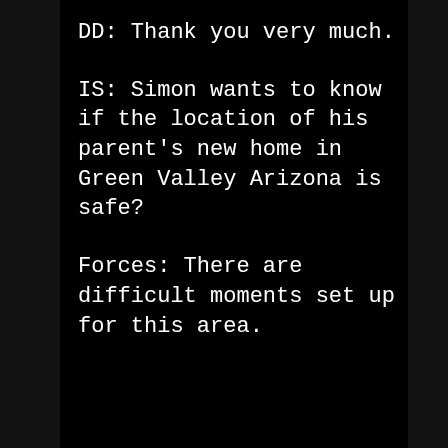DD: Thank you very much.
IS: Simon wants to know if the location of his parent's new home in Green Valley Arizona is safe?
Forces: There are difficult moments set up for this area.